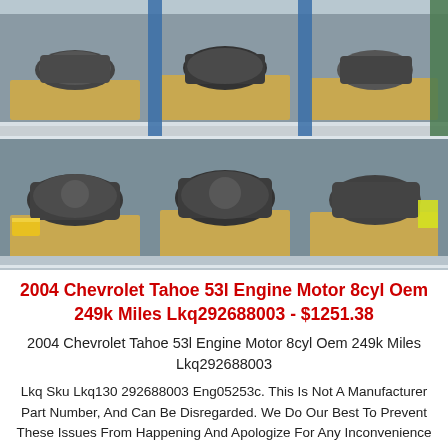[Figure (photo): Warehouse shelving with multiple used car engines (motors) stored on wooden pallets on metal rack shelves. Blue and green metal uprights visible. Overhead view showing engines on two shelf levels.]
2004 Chevrolet Tahoe 53l Engine Motor 8cyl Oem 249k Miles Lkq292688003 - $1251.38
2004 Chevrolet Tahoe 53l Engine Motor 8cyl Oem 249k Miles Lkq292688003
Lkq Sku Lkq130 292688003 Eng05253c. This Is Not A Manufacturer Part Number, And Can Be Disregarded. We Do Our Best To Prevent These Issues From Happening And Apologize For Any Inconvenience It